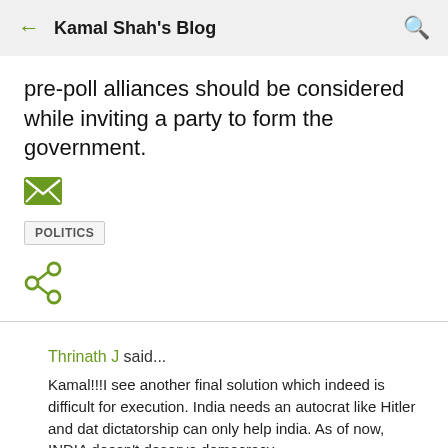Kamal Shah's Blog
pre-poll alliances should be considered while inviting a party to form the government.
[Figure (illustration): Green email/envelope icon]
POLITICS
[Figure (illustration): Green share icon]
Thrinath J said...
Kamal!!!I see another final solution which indeed is difficult for execution. India needs an autocrat like Hitler and dat dictatorship can only help india. As of now, INDIA doesn't deserve democracy.